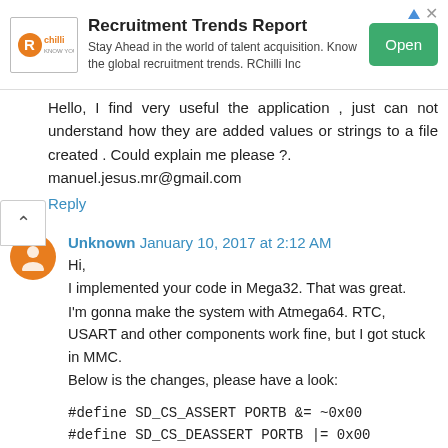[Figure (other): RChilli advertisement banner: Recruitment Trends Report. Stay Ahead in the world of talent acquisition. Know the global recruitment trends. RChilli Inc. Open button (green).]
Hello, I find very useful the application , just can not understand how they are added values or strings to a file created . Could explain me please ?. manuel.jesus.mr@gmail.com
Reply
Unknown January 10, 2017 at 2:12 AM
Hi,
I implemented your code in Mega32. That was great.
I'm gonna make the system with Atmega64. RTC, USART and other components work fine, but I got stuck in MMC.
Below is the changes, please have a look:

#define SD_CS_ASSERT PORTB &= ~0x00
#define SD_CS_DEASSERT PORTB |= 0x00